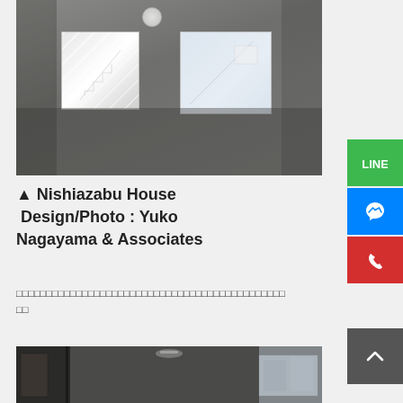[Figure (photo): Interior room photograph showing two square windows on a grey wall, with geometric white stair shapes visible through the left window, and a ceiling-mounted round light fixture.]
▲ Nishiazabu House Design/Photo : Yuko Nagayama & Associates
□□□□□□□□□□□□□□□□□□□□□□□□□□□□□□□□□□□□□□□□□□□□□□□□□□□□□□□□
[Figure (photo): Interior corridor/hallway photograph showing a long narrow space with recessed ceiling lights and large windows at the far end revealing an exterior building view.]